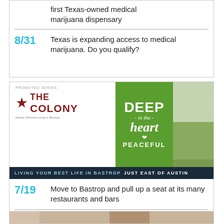first Texas-owned medical marijuana dispensary
8/31 Texas is expanding access to medical marijuana. Do you qualify?
[Figure (advertisement): The Colony promoted series ad banner with 'Deep in the heart Peaceful' text and 'Living your best life in Bastrop / Just East of Austin' tagline]
7/19 Move to Bastrop and pull up a seat at its many restaurants and bars
6/21 5 reasons to live in Bastrop, from affordability to outdoor fun
[Figure (photo): Partial photo visible at bottom of page]